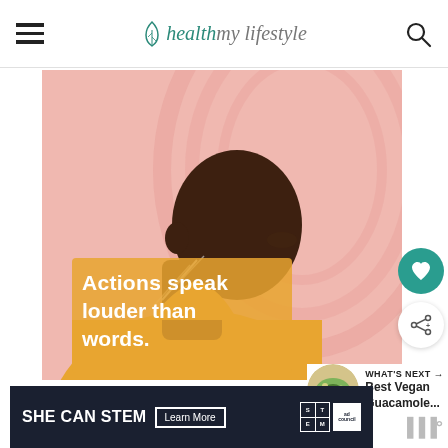health my lifestyle
[Figure (illustration): Illustration of a Black man in profile view wearing a yellow turtleneck, against a pink swirling background. Text overlay reads: 'Actions speak louder than words.']
[Figure (photo): Round thumbnail image of a bowl of guacamole with tortilla chips]
WHAT'S NEXT → Best Vegan Guacamole...
[Figure (infographic): SHE CAN STEM advertisement banner with Learn More button, STEM grid logo, and Ad Council logo]